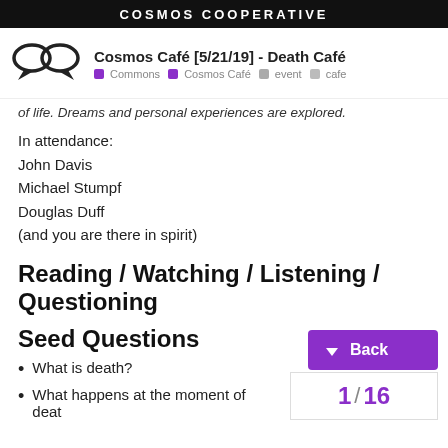COSMOS COOPERATIVE
[Figure (logo): Infinity symbol / two overlapping speech bubbles logo]
Cosmos Café [5/21/19] - Death Café
Commons · Cosmos Café · event · cafe
of life. Dreams and personal experiences are explored.
In attendance:
John Davis
Michael Stumpf
Douglas Duff
(and you are there in spirit)
Reading / Watching / Listening / Questioning
Seed Questions
What is death?
What happens at the moment of deat…